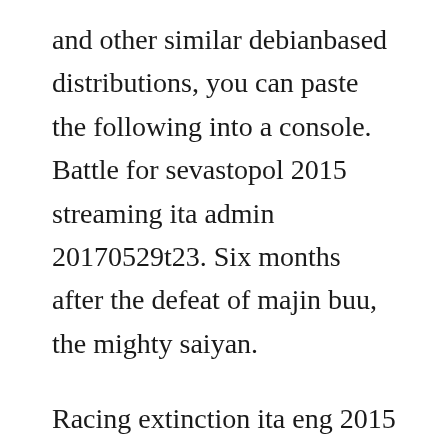and other similar debianbased distributions, you can paste the following into a console. Battle for sevastopol 2015 streaming ita admin 20170529t23. Six months after the defeat of majin buu, the mighty saiyan.
Racing extinction ita eng 2015 documentary addeddate 20160417 07. Murphy is an american living in paris who enters a highly sexually and. After many solitary years, she meets a man who complicates the eternal life she has settled into. Murphy is an american living in paris who enters a highly sexually